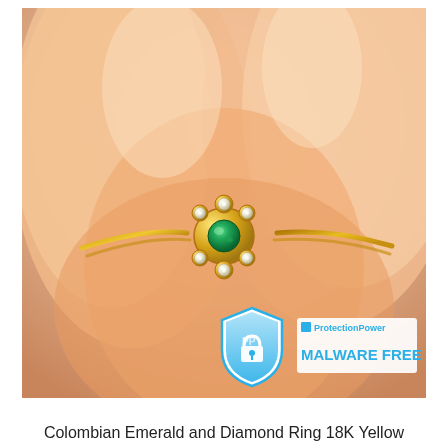[Figure (photo): Close-up photo of a gold ring with a green Colombian emerald center stone surrounded by small diamond accents in a flower-like setting, worn on a person's finger. Overlaid in the lower right area of the photo is a ProtectionPower 'MALWARE FREE' badge with a blue shield icon and padlock logo.]
Colombian Emerald and Diamond Ring 18K Yellow